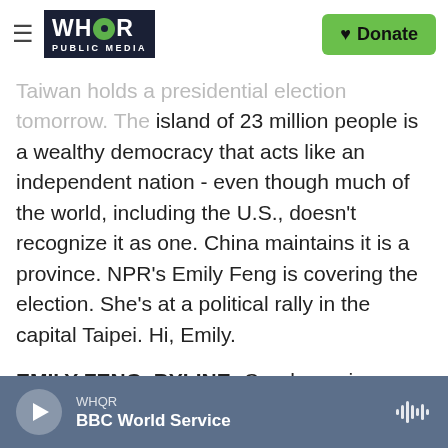WHOR PUBLIC MEDIA | Donate
Taiwan holds a presidential election tomorrow. The island of 23 million people is a wealthy democracy that acts like an independent nation - even though much of the world, including the U.S., doesn't recognize it as one. China maintains it is a province. NPR's Emily Feng is covering the election. She's at a political rally in the capital Taipei. Hi, Emily.
EMILY FENG, BYLINE: Good morning.
GREENE: So how is the China-Taiwan relationship playing out in this election?
WHOR | BBC World Service